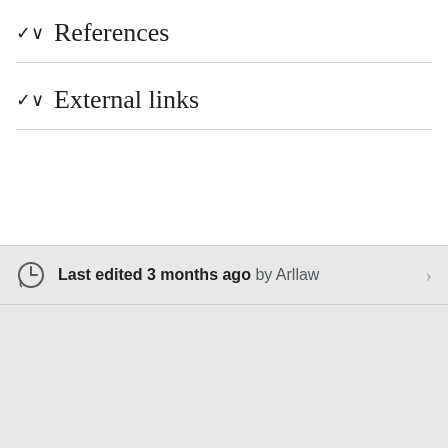References
External links
Last edited 3 months ago by Arllaw